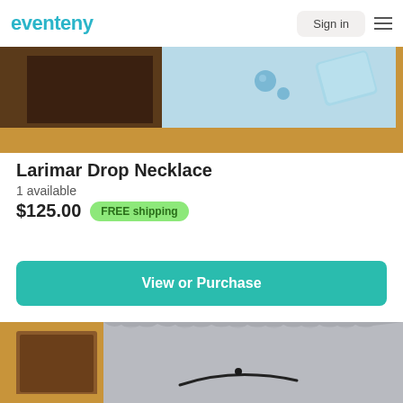eventeny | Sign in
[Figure (photo): Wood jewelry display box with aqua blue larimar stone beads on a light blue fabric background]
Larimar Drop Necklace
1 available
$125.00  FREE shipping
View or Purchase
[Figure (photo): Wood display box with grey stone or slate background and dark objects (necklace) on it]